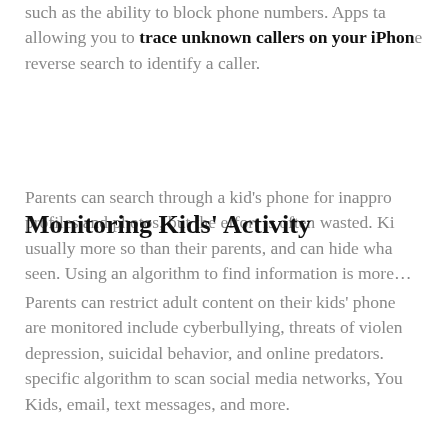such as the ability to block phone numbers. Apps allowing you to trace unknown callers on your iPhone reverse search to identify a caller.
Parents can search through a kid's phone for inappropriate profiles and photos, but the effort is often wasted. Kids are usually more so than their parents, and can hide what they don't want seen. Using an algorithm to find information is more...
Monitoring Kids' Activity
Parents can restrict adult content on their kids' phones. Issues that are monitored include cyberbullying, threats of violence, depression, suicidal behavior, and online predators. Using a specific algorithm to scan social media networks, YouTube, Google Kids, email, text messages, and more.